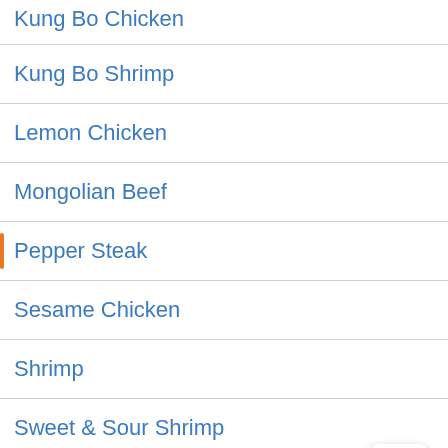Kung Bo Chicken
Kung Bo Shrimp
Lemon Chicken
Mongolian Beef
Pepper Steak
Sesame Chicken
Shrimp
Sweet & Sour Shrimp
Szechwan Beef
Szechwan Chicken
Szechwan Shrimp
Tri Chip Chicken